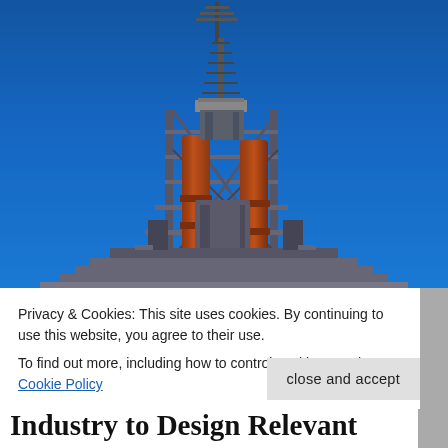[Figure (photo): Industrial blast furnace or steelworks structure with large rust-colored pipes and steel scaffolding against a clear bright blue sky. The tall industrial tower has communication masts at the top and complex metalwork platforms.]
Privacy & Cookies: This site uses cookies. By continuing to use this website, you agree to their use.
To find out more, including how to control cookies, see here: Cookie Policy
close and accept
Industry to Design Relevant